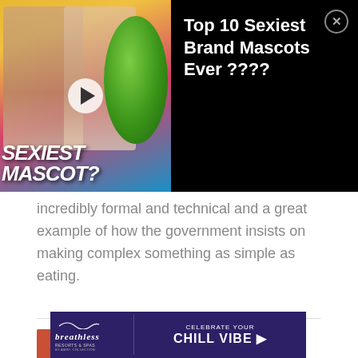[Figure (screenshot): Advertisement banner showing 'Top 10 Sexiest Brand Mascots Ever ????' with thumbnail of people reacting and green M&M mascot, black background with close button]
incredibly formal and technical and a great example of how the government insists on making complex something as simple as eating.
5 Packaging
[Figure (photo): Photo of silver/foil packaged food items laid out on a wooden surface]
[Figure (screenshot): Advertisement banner for Breathless Resorts & Spas by AMR Collection: 'CELEBRATE YOUR CHILL VIBE ▶' on purple/navy background]